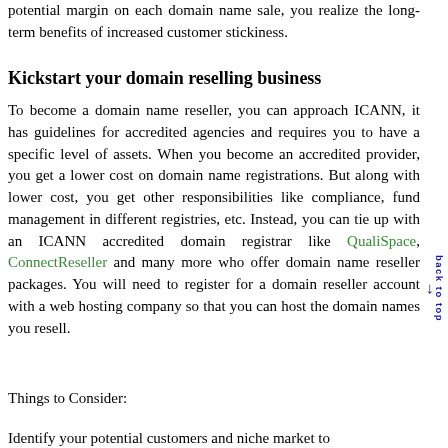potential margin on each domain name sale, you realize the long-term benefits of increased customer stickiness.
Kickstart your domain reselling business
To become a domain name reseller, you can approach ICANN, it has guidelines for accredited agencies and requires you to have a specific level of assets. When you become an accredited provider, you get a lower cost on domain name registrations. But along with lower cost, you get other responsibilities like compliance, fund management in different registries, etc. Instead, you can tie up with an ICANN accredited domain registrar like QualiSpace, ConnectReseller and many more who offer domain name reseller packages. You will need to register for a domain reseller account with a web hosting company so that you can host the domain names you resell.
Things to Consider:
Identify your potential customers and niche market to